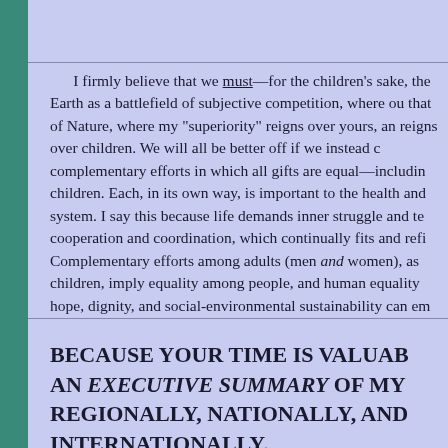I firmly believe that we must—for the children's sake, the Earth as a battlefield of subjective competition, where ou that of Nature, where my "superiority" reigns over yours, an reigns over children. We will all be better off if we instead c complementary efforts in which all gifts are equal—includin children. Each, in its own way, is important to the health and system. I say this because life demands inner struggle and te cooperation and coordination, which continually fits and refi Complementary efforts among adults (men and women), as children, imply equality among people, and human equality hope, dignity, and social-environmental sustainability can em
BECAUSE YOUR TIME IS VALUAB AN EXECUTIVE SUMMARY OF MY REGIONALLY, NATIONALLY, AND INTERNATIONALLY.